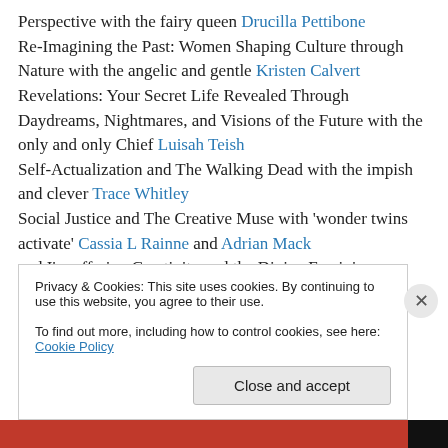Perspective with the fairy queen Drucilla Pettibone Re-Imagining the Past: Women Shaping Culture through Nature with the angelic and gentle Kristen Calvert Revelations: Your Secret Life Revealed Through Daydreams, Nightmares, and Visions of the Future with the only and only Chief Luisah Teish Self-Actualization and The Walking Dead with the impish and clever Trace Whitley Social Justice and The Creative Muse with 'wonder twins activate' Cassia L Rainne and Adrian Mack and I'm offering Creativity and the Divine Feminine
Privacy & Cookies: This site uses cookies. By continuing to use this website, you agree to their use. To find out more, including how to control cookies, see here: Cookie Policy
Close and accept